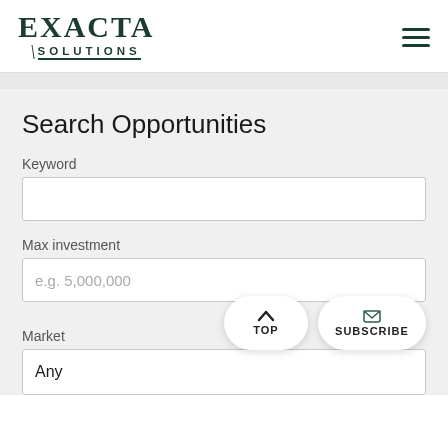[Figure (logo): Exacta Solutions company logo with serif bold EXACTA text and SOLUTIONS underlined below, dark green color]
Search Opportunities
Keyword
Max investment
e.g. 5,000,000
Market
Any
TOP
SUBSCRIBE